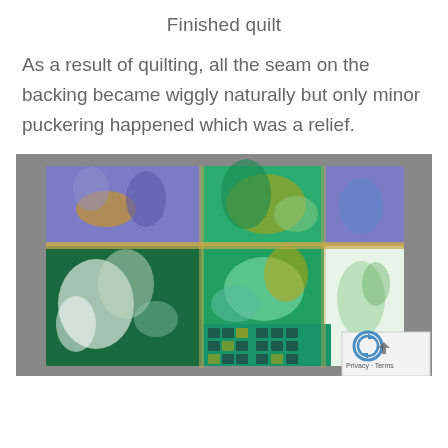Finished quilt
As a result of quilting, all the seam on the backing became wiggly naturally but only minor puckering happened which was a relief.
[Figure (photo): A finished patchwork quilt laid flat on a gray surface, showing multiple colorful fabric panels with green, purple, white, and gold floral and leaf patterns.]